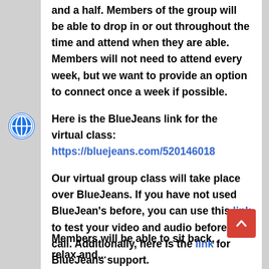and a half. Members of the group will be able to drop in or out throughout the time and attend when they are able. Members will not need to attend every week, but we want to provide an option to connect once a week if possible.
Here is the BlueJeans link for the virtual class: https://bluejeans.com/520146018
Our virtual group class will take place over BlueJeans. If you have not used BlueJean's before, you can use this link to test your video and audio before the call. Additionally, here is the link for BlueJeans support.
Members will be able to...